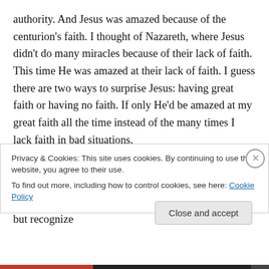authority. And Jesus was amazed because of the centurion's faith. I thought of Nazareth, where Jesus didn't do many miracles because of their lack of faith. This time He was amazed at their lack of faith. I guess there are two ways to surprise Jesus: having great faith or having no faith. If only He'd be amazed at my great faith all the time instead of the many times I lack faith in bad situations.
It isn't that hard to have some kind of faith. We trust a lot of different things in this world to work right. We have faith that there will be food at the grocery store but recognize
Privacy & Cookies: This site uses cookies. By continuing to use this website, you agree to their use.
To find out more, including how to control cookies, see here: Cookie Policy
Close and accept